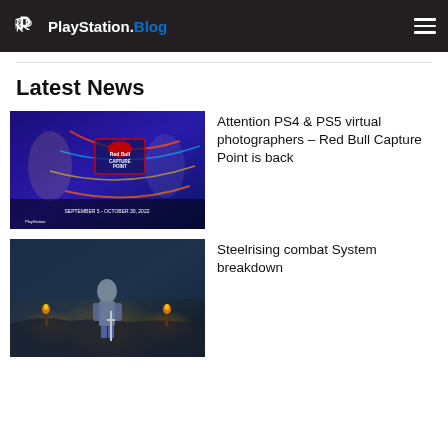PlayStation.Blog
Latest News
[Figure (photo): Red Bull Capture Point promotional image with game characters, September 5 - October 30, 2022]
Attention PS4 & PS5 virtual photographers – Red Bull Capture Point is back
[Figure (photo): Steelrising game screenshot showing armored character in dark gothic environment]
Steelrising combat System breakdown